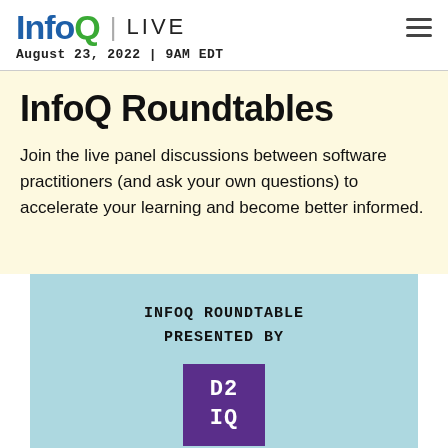InfoQ LIVE | August 23, 2022 | 9AM EDT
InfoQ Roundtables
Join the live panel discussions between software practitioners (and ask your own questions) to accelerate your learning and become better informed.
[Figure (logo): InfoQ Roundtable Presented By D2IQ logo on light blue background]